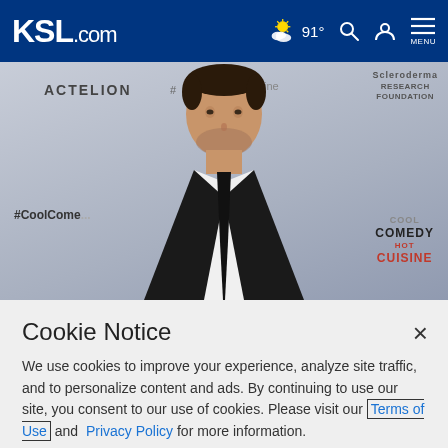KSL.com — 91° weather, search, account, menu
[Figure (photo): Photo of a man in a black suit with a black tie at an event with ACTELION and Scleroderma Research Foundation backdrops. Signage includes #CoolComedy and COOL COMEDY HOT CUISINE.]
Cookie Notice
We use cookies to improve your experience, analyze site traffic, and to personalize content and ads. By continuing to use our site, you consent to our use of cookies. Please visit our Terms of Use and Privacy Policy for more information.
Continue